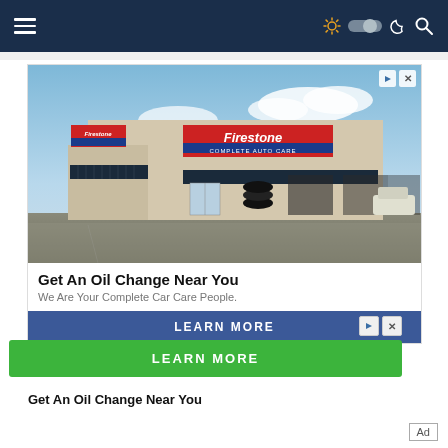[Figure (screenshot): Website navigation bar with dark navy blue background, hamburger menu icon on left, and icons (sun/dark mode toggle, moon, search) on right]
[Figure (photo): Firestone Complete Auto Care store exterior photo — tan brick building with red and blue Firestone signage, dark awnings, garage bays on right, parking lot in foreground]
Get An Oil Change Near You
We Are Your Complete Car Care People.
[Figure (other): Blue 'LEARN MORE' button]
[Figure (other): Green 'LEARN MORE' button (second ad unit)]
Get An Oil Change Near You
Ad